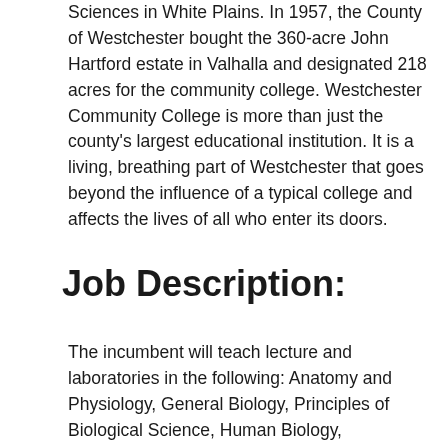Sciences in White Plains. In 1957, the County of Westchester bought the 360-acre John Hartford estate in Valhalla and designated 218 acres for the community college. Westchester Community College is more than just the county's largest educational institution. It is a living, breathing part of Westchester that goes beyond the influence of a typical college and affects the lives of all who enter its doors.
Job Description:
The incumbent will teach lecture and laboratories in the following: Anatomy and Physiology, General Biology, Principles of Biological Science, Human Biology, Microbiology, Problems in Pollution, Environmental Science, or Environmental Studies.